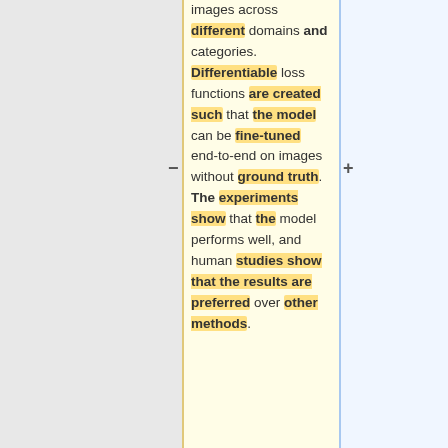images across different domains and categories. Differentiable loss functions are created such that the model can be fine-tuned end-to-end on images without ground truth. The experiments show that the model performs well, and human studies show that the results are preferred over other methods.